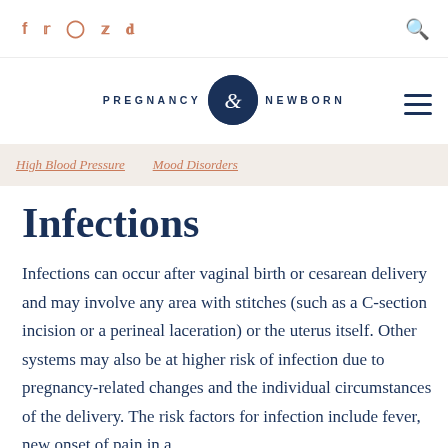f  ♦  ○  P  ♪  [search icon]
[Figure (logo): Pregnancy & Newborn logo with navy circular emblem containing an ampersand, flanked by text PREGNANCY and NEWBORN in spaced uppercase letters]
High Blood Pressure   Mood Disorders
Infections
Infections can occur after vaginal birth or cesarean delivery and may involve any area with stitches (such as a C-section incision or a perineal laceration) or the uterus itself. Other systems may also be at higher risk of infection due to pregnancy-related changes and the individual circumstances of the delivery. The risk factors for infection include fever, new onset of pain in a